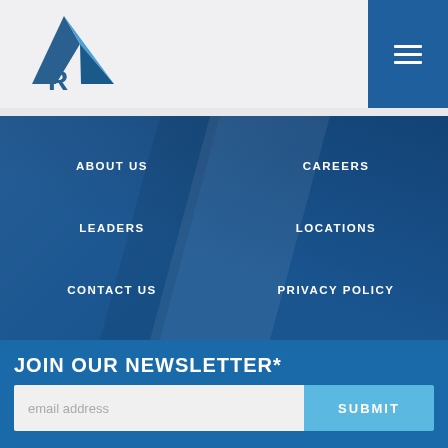IR Logo / Navigation header with hamburger menu
ABOUT US
CAREERS
LEADERS
LOCATIONS
CONTACT US
PRIVACY POLICY
JOIN OUR NEWSLETTER*
email address
SUBMIT